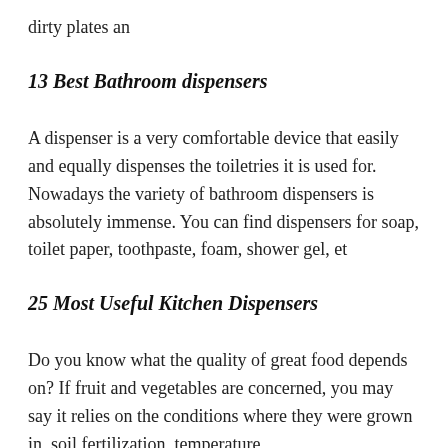dirty plates an
13 Best Bathroom dispensers
A dispenser is a very comfortable device that easily and equally dispenses the toiletries it is used for. Nowadays the variety of bathroom dispensers is absolutely immense. You can find dispensers for soap, toilet paper, toothpaste, foam, shower gel, et
25 Most Useful Kitchen Dispensers
Do you know what the quality of great food depends on? If fruit and vegetables are concerned, you may say it relies on the conditions where they were grown in, soil fertilization, temperature